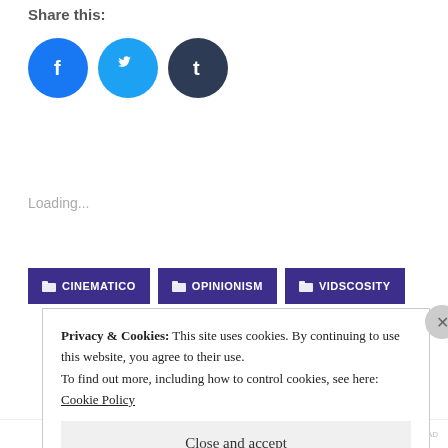Share this:
[Figure (illustration): Three social share buttons: Facebook (blue circle with f icon), Twitter (light blue circle with bird icon), Tumblr (dark navy circle with t icon)]
Loading...
CINEMATICO
OPINIONISM
VIDSCOSITY
[Figure (photo): Circular profile photo of a person with grey-streaked hair, cropped at top of frame]
Privacy & Cookies: This site uses cookies. By continuing to use this website, you agree to their use.
To find out more, including how to control cookies, see here: Cookie Policy
Close and accept